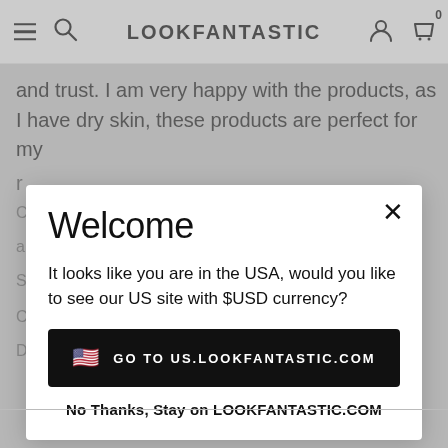LOOKFANTASTIC
and trust. I am very happy with the products, as I have dry skin, these products are perfect for my r...
Welcome
It looks like you are in the USA, would you like to see our US site with $USD currency?
GO TO US.LOOKFANTASTIC.COM
No Thanks, Stay on LOOKFANTASTIC.COM